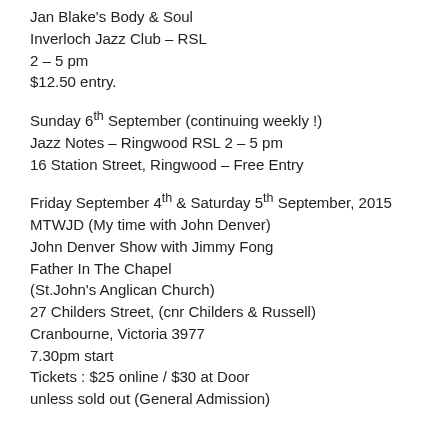Jan Blake's Body & Soul
Inverloch Jazz Club – RSL
2 – 5 pm
$12.50 entry.
Sunday 6th September (continuing weekly !)
Jazz Notes – Ringwood RSL 2 – 5 pm
16 Station Street, Ringwood – Free Entry
Friday September 4th & Saturday 5th September, 2015
MTWJD (My time with John Denver)
John Denver Show with Jimmy Fong
Father In The Chapel
(St.John's Anglican Church)
27 Childers Street, (cnr Childers & Russell)
Cranbourne, Victoria 3977
7.30pm start
Tickets : $25 online / $30 at Door
unless sold out (General Admission)